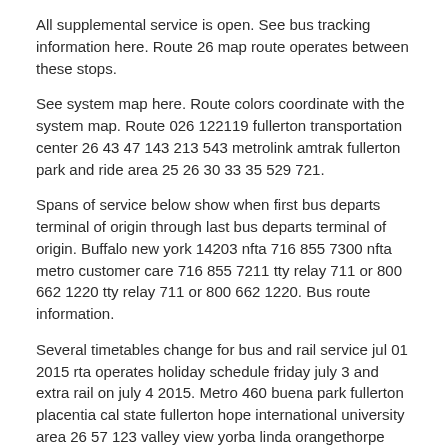All supplemental service is open. See bus tracking information here. Route 26 map route operates between these stops.
See system map here. Route colors coordinate with the system map. Route 026 122119 fullerton transportation center 26 43 47 143 213 543 metrolink amtrak fullerton park and ride area 25 26 30 33 35 529 721.
Spans of service below show when first bus departs terminal of origin through last bus departs terminal of origin. Buffalo new york 14203 nfta 716 855 7300 nfta metro customer care 716 855 7211 tty relay 711 or 800 662 1220 tty relay 711 or 800 662 1220. Bus route information.
Several timetables change for bus and rail service jul 01 2015 rta operates holiday schedule friday july 3 and extra rail on july 4 2015. Metro 460 buena park fullerton placentia cal state fullerton hope international university area 26 57 123 valley view yorba linda orangethorpe commonwealth 30 chapman 123 fullerton to yorba. These are the destination signs shown on the top front and right side of the bus.
The program will get you home in the event of a personal emergency or unscheduled overtime. For the accessible transit schedule tab or click the link to navigate to the schedule. Contact our lost found